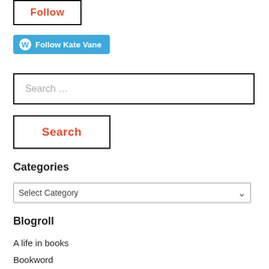[Figure (screenshot): A button with black border containing red 'Follow' text]
[Figure (screenshot): WordPress Follow Kate Vane button in blue with WordPress logo]
[Figure (screenshot): Search input field with placeholder text 'Search ...' and black border]
[Figure (screenshot): Search button with black border and red 'Search' text]
Categories
[Figure (screenshot): Select Category dropdown box]
Blogroll
A life in books
Bookword